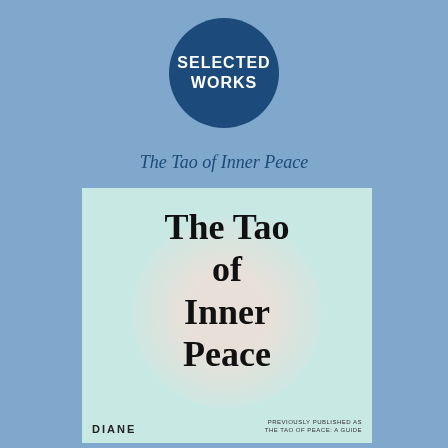[Figure (logo): Dark blue circular badge with white bold uppercase text reading 'SELECTED WORKS']
The Tao of Inner Peace
[Figure (illustration): Book cover for 'The Tao of Inner Peace' by Diane, on a light teal background with a large pale circular orb. The book title is displayed in large bold serif font. Author name DIANE appears at the bottom left, with small text 'PREVIOUSLY PUBLISHED AS THE TAO OF PEACE: A GUIDE' at bottom right.]